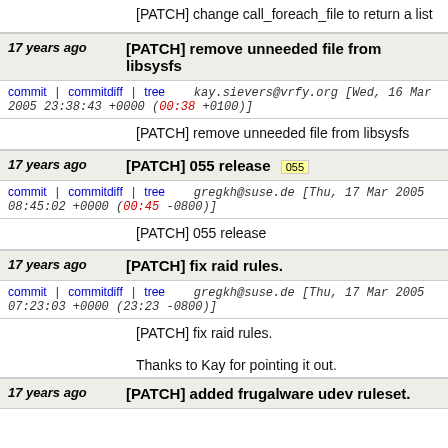[PATCH] change call_foreach_file to return a list
17 years ago  [PATCH] remove unneeded file from libsysfs
commit | commitdiff | tree   kay.sievers@vrfy.org [Wed, 16 Mar 2005 23:38:43 +0000 (00:38 +0100)]
[PATCH] remove unneeded file from libsysfs
17 years ago  [PATCH] 055 release 055
commit | commitdiff | tree   gregkh@suse.de [Thu, 17 Mar 2005 08:45:02 +0000 (00:45 -0800)]
[PATCH] 055 release
17 years ago  [PATCH] fix raid rules.
commit | commitdiff | tree   gregkh@suse.de [Thu, 17 Mar 2005 07:23:03 +0000 (23:23 -0800)]
[PATCH] fix raid rules.

Thanks to Kay for pointing it out.
17 years ago  [PATCH] added frugalware udev ruleset.